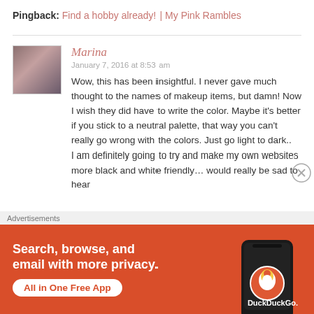Pingback: Find a hobby already! | My Pink Rambles
Marina
January 7, 2016 at 8:53 am
Wow, this has been insightful. I never gave much thought to the names of makeup items, but damn! Now I wish they did have to write the color. Maybe it's better if you stick to a neutral palette, that way you can't really go wrong with the colors. Just go light to dark.. I am definitely going to try and make my own websites more black and white friendly… would really be sad to hear
Advertisements
[Figure (infographic): DuckDuckGo advertisement banner with orange background. Text reads: Search, browse, and email with more privacy. All in One Free App. Shows a smartphone with DuckDuckGo app and logo.]